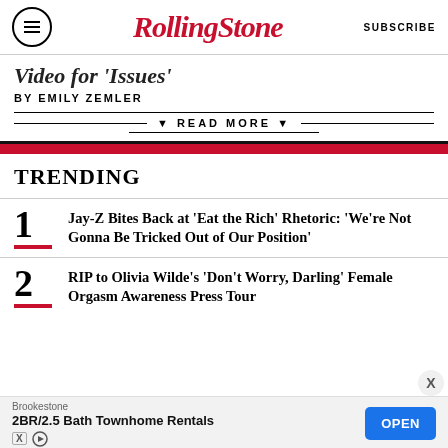RollingStone | SUBSCRIBE
Video for 'Issues'
BY EMILY ZEMLER
▼ READ MORE ▼
TRENDING
1 Jay-Z Bites Back at 'Eat the Rich' Rhetoric: 'We're Not Gonna Be Tricked Out of Our Position'
2 RIP to Olivia Wilde's 'Don't Worry, Darling' Female Orgasm Awareness Press Tour
Brookestone
2BR/2.5 Bath Townhome Rentals
OPEN